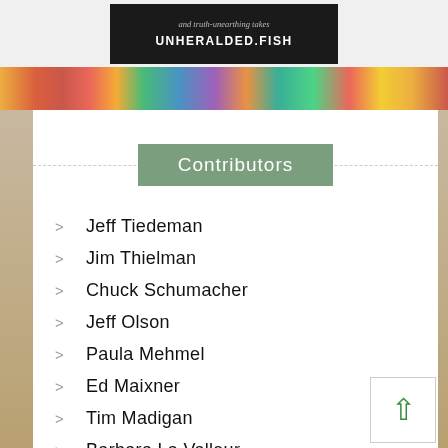[Figure (screenshot): Top banner image with dark background showing text 'and truth-unearthing takes' and 'UNHERALDED.FISH' in bold white text, followed by a colorful strip with abstract art/paint colors]
Contributors
Jeff Tiedeman
Jim Thielman
Chuck Schumacher
Jeff Olson
Paula Mehmel
Ed Maixner
Tim Madigan
Barbara La Valleur
Clay Jenkinson
Russell Hons
Nick Hennen